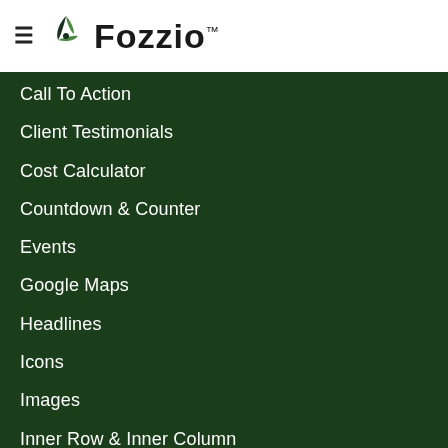Fozzio™
Call To Action
Client Testimonials
Cost Calculator
Countdown & Counter
Events
Google Maps
Headlines
Icons
Images
Inner Row & Inner Column
Menu & Working Hours
Price List
Progress Bar
Service
Single Product
Slider
Social Media
Team